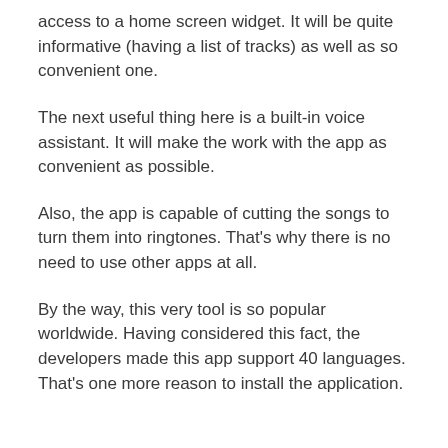access to a home screen widget. It will be quite informative (having a list of tracks) as well as so convenient one.
The next useful thing here is a built-in voice assistant. It will make the work with the app as convenient as possible.
Also, the app is capable of cutting the songs to turn them into ringtones. That's why there is no need to use other apps at all.
By the way, this very tool is so popular worldwide. Having considered this fact, the developers made this app support 40 languages. That's one more reason to install the application.